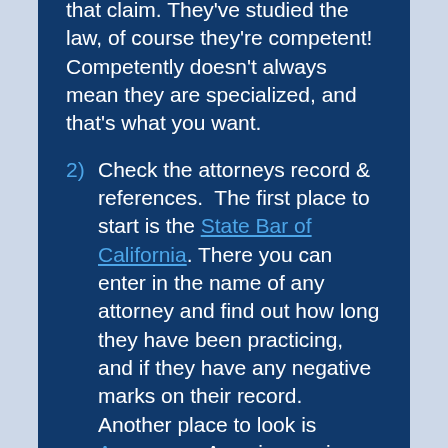that claim. They've studied the law, of course they're competent! Competently doesn't always mean they are specialized, and that's what you want.
2) Check the attorneys record & references.  The first place to start is the State Bar of California. There you can enter in the name of any attorney and find out how long they have been practicing, and if they have any negative marks on their record.  Another place to look is Avvo.com.  Avvo is a main source online for people looking for reviews of